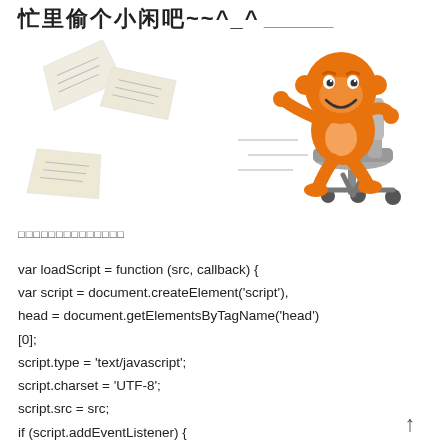忙里偷个小闲吧~~^_^
[Figure (illustration): Cartoon orange character sitting on a rolling office chair moving fast, with papers flying in the background]
□□□□□□□□□□□□□□
var loadScript = function (src, callback) {
var script = document.createElement('script'),
head = document.getElementsByTagName('head')
[0];
script.type = 'text/javascript';
script.charset = 'UTF-8';
script.src = src;
if (script.addEventListener) {